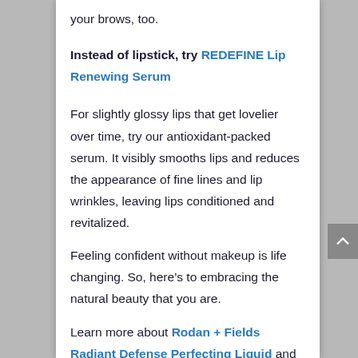your brows, too.
Instead of lipstick, try REDEFINE Lip Renewing Serum
For slightly glossy lips that get lovelier over time, try our antioxidant-packed serum. It visibly smooths lips and reduces the appearance of fine lines and lip wrinkles, leaving lips conditioned and revitalized.
Feeling confident without makeup is life changing. So, here’s to embracing the natural beauty that you are.
Learn more about Rodan + Fields Radiant Defense Perfecting Liquid and how you can get your most radiant skin yet. Trust your